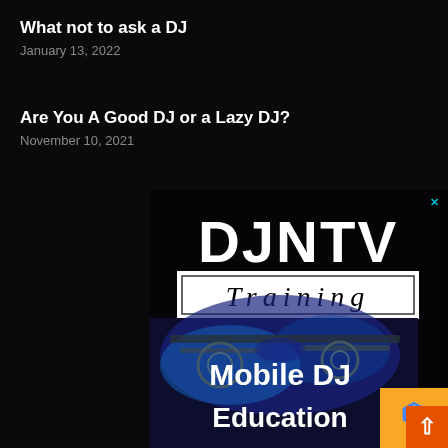What not to ask a DJ
January 13, 2022
Are You A Good DJ or a Lazy DJ?
November 10, 2021
[Figure (logo): DJNTV Training Mobile DJ Education advertisement banner with large bold white text on dark background with blue-lit DJ equipment photo]